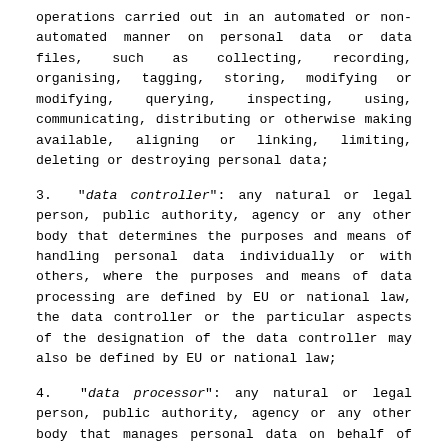operations carried out in an automated or non-automated manner on personal data or data files, such as collecting, recording, organising, tagging, storing, modifying or modifying, querying, inspecting, using, communicating, distributing or otherwise making available, aligning or linking, limiting, deleting or destroying personal data;
3. "data controller": any natural or legal person, public authority, agency or any other body that determines the purposes and means of handling personal data individually or with others, where the purposes and means of data processing are defined by EU or national law, the data controller or the particular aspects of the designation of the data controller may also be defined by EU or national law;
4. "data processor": any natural or legal person, public authority, agency or any other body that manages personal data on behalf of the data controller;